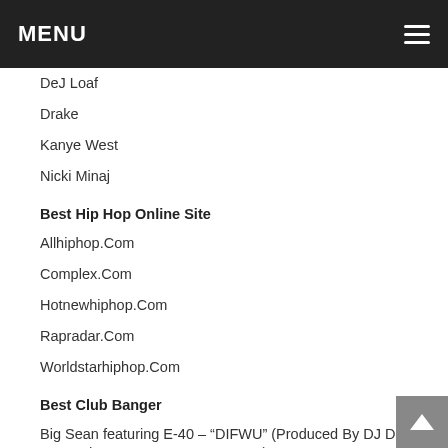MENU
DeJ Loaf
Drake
Kanye West
Nicki Minaj
Best Hip Hop Online Site
Allhiphop.Com
Complex.Com
Hotnewhiphop.Com
Rapradar.Com
Worldstarhiphop.Com
Best Club Banger
Big Sean featuring E-40 – “DIFWU” (Produced By DJ Dahi, DJ Mustard, Kanye West & Key Wane)
DeJ Loaf – “Try Me” (Produced By DDS)
Fetty Wap – “Trap Queen” (Produced By Tony Fadd)
Future – “Commas” (Produced By DJ Spinz & Southside)
Rich Homie Quan – “Flex” (Ooh, Ooh, Ooh) (Produced By DJ Spinz